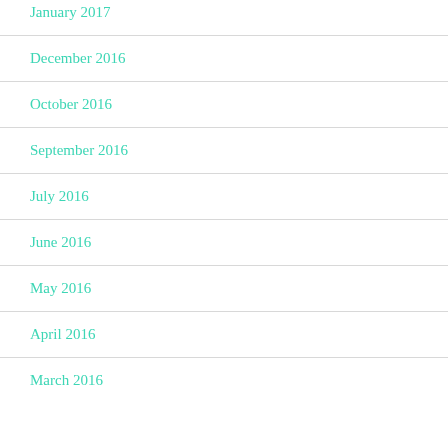January 2017
December 2016
October 2016
September 2016
July 2016
June 2016
May 2016
April 2016
March 2016